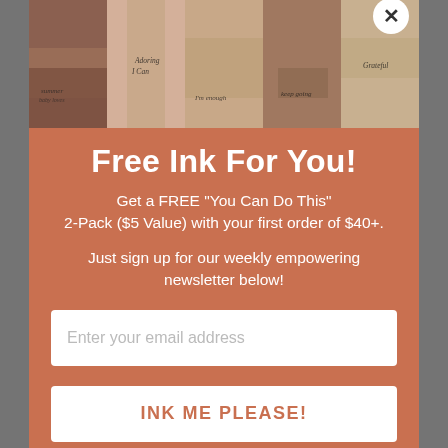[Figure (photo): Strip of 5 photos showing tattoo designs on various body parts — shoulder, arm, chest, chin/neck, and hand/finger — with cursive script tattoos.]
Free Ink For You!
Get a FREE "You Can Do This" 2-Pack ($5 Value) with your first order of $40+.
Just sign up for our weekly empowering newsletter below!
Enter your email address
INK ME PLEASE!